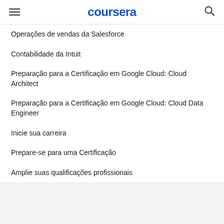coursera
Operações de vendas da Salesforce
Contabilidade da Intuit
Preparação para a Certificação em Google Cloud: Cloud Architect
Preparação para a Certificação em Google Cloud: Cloud Data Engineer
Inicie sua carreira
Prepare-se para uma Certificação
Amplie suas qualificações profissionais
Procurar temas populares
cursos gratuitos
Aprenda um idioma